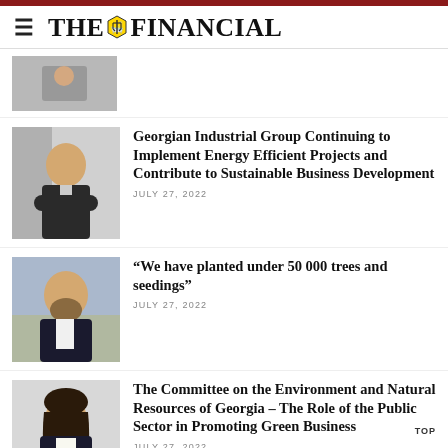THE FINANCIAL
[Figure (photo): Partial photo of a person at a desk, cropped]
Georgian Industrial Group Continuing to Implement Energy Efficient Projects and Contribute to Sustainable Business Development
JULY 27, 2022
[Figure (photo): Photo of a man with beard in a suit, smiling]
“We have planted under 50 000 trees and seedings”
JULY 27, 2022
[Figure (photo): Photo of a woman with dark hair in a suit]
The Committee on the Environment and Natural Resources of Georgia – The Role of the Public Sector in Promoting Green Business
JULY 27, 2022